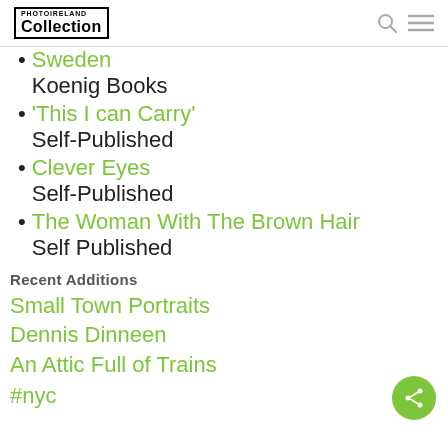PHOTOIRELAND Collection
Sweden
Koenig Books
'This I can Carry'
Self-Published
Clever Eyes
Self-Published
The Woman With The Brown Hair
Self Published
Recent Additions
Small Town Portraits
Dennis Dinneen
An Attic Full of Trains
#nyc